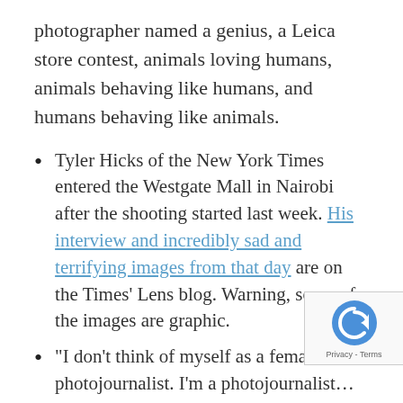photographer named a genius, a Leica store contest, animals loving humans, animals behaving like humans, and humans behaving like animals.
Tyler Hicks of the New York Times entered the Westgate Mall in Nairobi after the shooting started last week. His interview and incredibly sad and terrifying images from that day are on the Times' Lens blog. Warning, some of the images are graphic.
“I don’t think of myself as a female photojournalist. I’m a photojournalist… an individual. Part of what I bring to the table is how I interact with my subjects and obviously being a woman may impact pe responses to me.” Women Photojournalists o Washington President, Jacquelyn Martin’s
[Figure (other): reCAPTCHA badge with Privacy - Terms label]